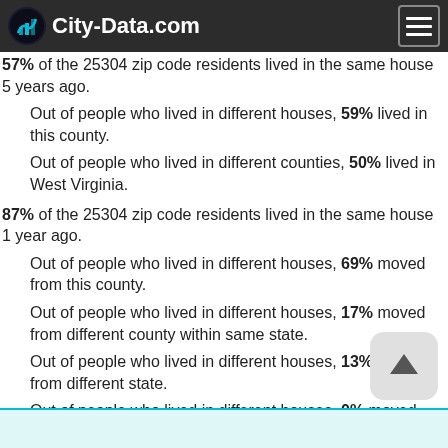City-Data.com
57% of the 25304 zip code residents lived in the same house 5 years ago.
Out of people who lived in different houses, 59% lived in this county.
Out of people who lived in different counties, 50% lived in West Virginia.
87% of the 25304 zip code residents lived in the same house 1 year ago.
Out of people who lived in different houses, 69% moved from this county.
Out of people who lived in different houses, 17% moved from different county within same state.
Out of people who lived in different houses, 13% moved from different state.
Out of people who lived in different houses, 0% moved from abroad.